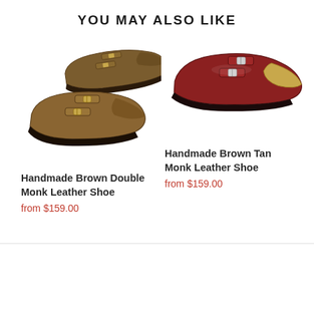YOU MAY ALSO LIKE
[Figure (photo): Brown double monk strap leather shoes shown as a pair, side view]
Handmade Brown Double Monk Leather Shoe
from $159.00
[Figure (photo): Dark brown/burgundy and tan cap toe monk strap leather shoe, single shoe side view]
Handmade Brown Tan Monk Leather Shoe
from $159.00